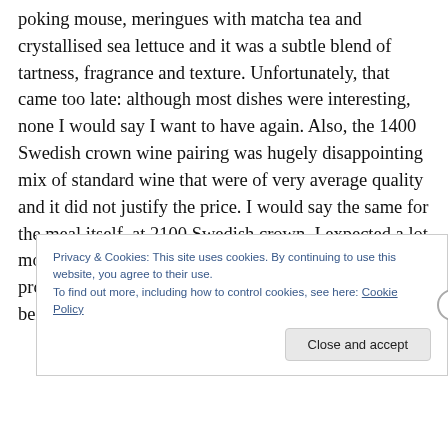poking mouse, meringues with matcha tea and crystallised sea lettuce and it was a subtle blend of tartness, fragrance and texture. Unfortunately, that came too late: although most dishes were interesting, none I would say I want to have again. Also, the 1400 Swedish crown wine pairing was hugely disappointing mix of standard wine that were of very average quality and it did not justify the price. I would say the same for the meal itself, at 2100 Swedish crown, I expected a lot more than what was served. Ultimately, it was the problem of expectation which may as well linked to it being the 20th
Privacy & Cookies: This site uses cookies. By continuing to use this website, you agree to their use.
To find out more, including how to control cookies, see here: Cookie Policy